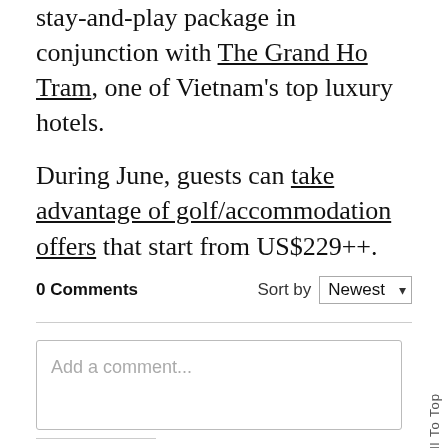stay-and-play package in conjunction with The Grand Ho Tram, one of Vietnam's top luxury hotels.
During June, guests can take advantage of golf/accommodation offers that start from US$229++.
0 Comments   Sort by Newest
Add a comment...
Scroll To Top
Facebook Comments Plugin